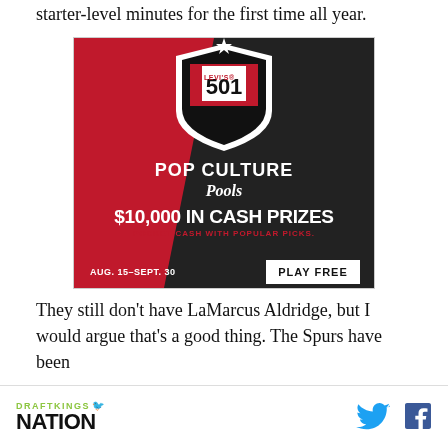starter-level minutes for the first time all year.
[Figure (infographic): Advertisement for Levi's 501 Pop Culture Pools on DraftKings. Red and dark background with shield logo. Text reads '$10,000 IN CASH PRIZES', 'POCKET CASH WITH POPULAR PICKS.', 'AUG. 15–SEPT. 30', and 'PLAY FREE' button.]
They still don't have LaMarcus Aldridge, but I would argue that's a good thing. The Spurs have been
DRAFTKINGS NATION